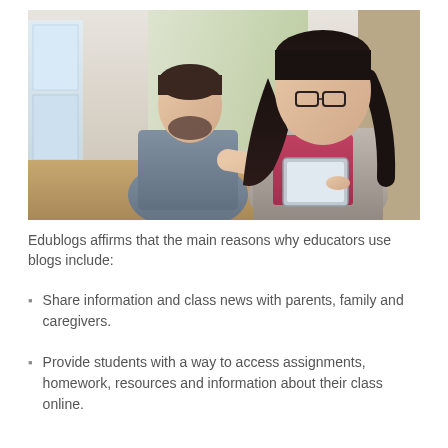[Figure (photo): Two people, a bearded man in a grey shirt and a young woman with long dark hair wearing glasses and a pink top with a grey hoodie, looking together at a tablet device being pointed at by the man. They appear to be in a bright educational or office setting.]
Edublogs affirms that the main reasons why educators use blogs include:
Share information and class news with parents, family and caregivers.
Provide students with a way to access assignments, homework, resources and information about their class online.